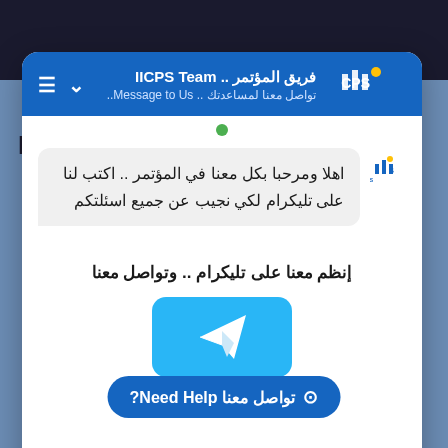[Figure (screenshot): Background of a conference website with dark header, blue body, and partial text 'Pr' visible, with a person photo at bottom]
[Figure (screenshot): Chat popup overlay from IICPS Team with Arabic text: فريق المؤتمر .. IICPS Team - تواصل معنا لمساعدتك .. Message to Us..]
اهلا ومرحبا بكل معنا في المؤتمر .. اكتب لنا على تليكرام لكي نجيب عن جميع اسئلتكم
إنظم معنا على تليكرام .. وتواصل معنا
تواصل معنا Need Help?